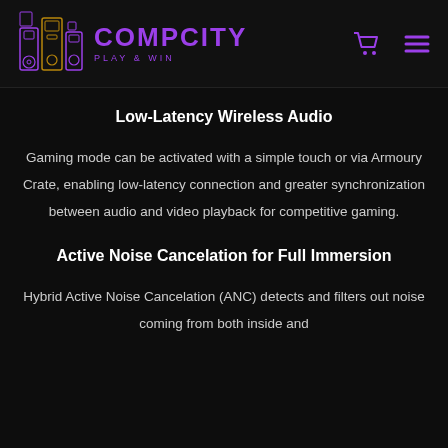COMPCITY PLAY & WIN
Low-Latency Wireless Audio
Gaming mode can be activated with a simple touch or via Armoury Crate, enabling low-latency connection and greater synchronization between audio and video playback for competitive gaming.
Active Noise Cancelation for Full Immersion
Hybrid Active Noise Cancelation (ANC) detects and filters out noise coming from both inside and